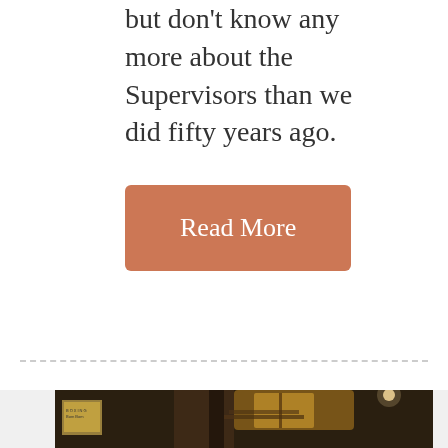but don't know any more about the Supervisors than we did fifty years ago.
[Figure (other): Button element with terracotta/orange background and white text reading 'Read More']
[Figure (photo): Two people in what appears to be a bar or gym setting. On the left is a bald older man in a gray jacket and dark red shirt. On the right is a Black woman with long red-tipped dreadlocks wearing a black tank top. The background shows a dimly lit interior with a staircase, boxing posters, and warm lighting.]